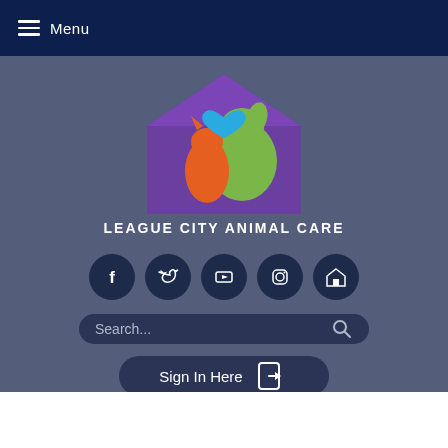Menu
[Figure (logo): League City Animal Care logo: purple house shape with green dog silhouette, orange cat silhouette, and blue heart]
LEAGUE CITY ANIMAL CARE
[Figure (infographic): Social media icon buttons: Facebook, Twitter, YouTube, Instagram, and a home/shelter icon — all white icons on dark navy circular backgrounds]
[Figure (screenshot): Search bar with placeholder text 'Search...' and a magnifying glass icon]
[Figure (screenshot): Sign In Here button with a sign-in door icon]